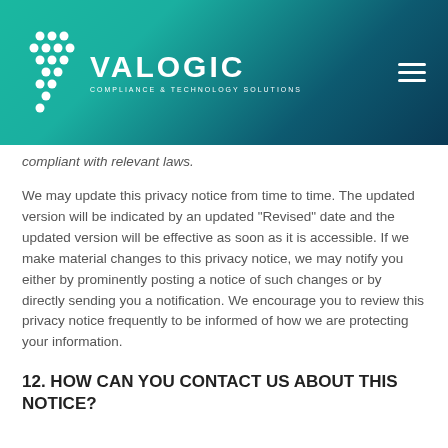[Figure (logo): Valogic Compliance & Technology Solutions logo with teal/dark blue gradient banner header and hamburger menu icon]
compliant with relevant laws.
We may update this privacy notice from time to time. The updated version will be indicated by an updated "Revised" date and the updated version will be effective as soon as it is accessible. If we make material changes to this privacy notice, we may notify you either by prominently posting a notice of such changes or by directly sending you a notification. We encourage you to review this privacy notice frequently to be informed of how we are protecting your information.
12. HOW CAN YOU CONTACT US ABOUT THIS NOTICE?